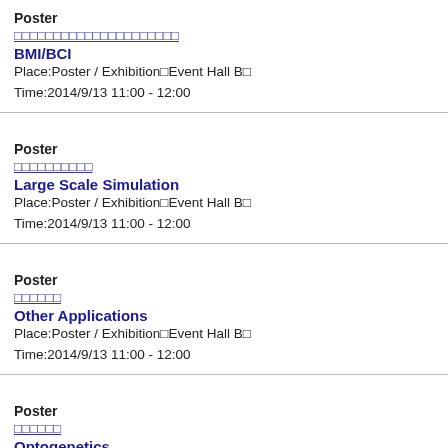Poster
□□□□□□□□□□□□□□□□□□□□□
BMI/BCI
Place:Poster / Exhibition□Event Hall B□
Time:2014/9/13 11:00 - 12:00
Poster
□□□□□□□□□□
Large Scale Simulation
Place:Poster / Exhibition□Event Hall B□
Time:2014/9/13 11:00 - 12:00
Poster
□□□□□□
Other Applications
Place:Poster / Exhibition□Event Hall B□
Time:2014/9/13 11:00 - 12:00
Poster
□□□□□□
Optogenetics